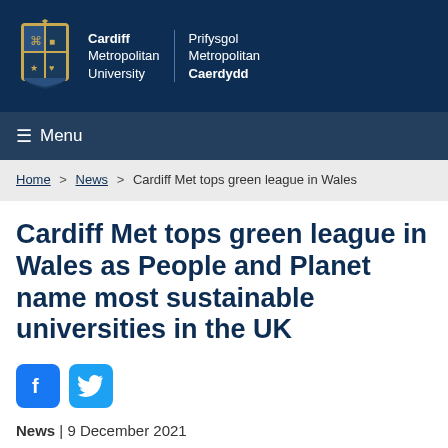Cardiff Metropolitan University | Prifysgol Metropolitan Caerdydd
Menu
Home > News > Cardiff Met tops green league in Wales
Cardiff Met tops green league in Wales as People and Planet name most sustainable universities in the UK
[Figure (other): Facebook and Twitter social sharing icons]
News | 9 December 2021